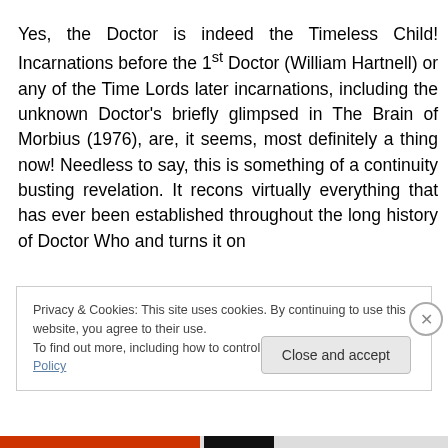Yes, the Doctor is indeed the Timeless Child! Incarnations before the 1st Doctor (William Hartnell) or any of the Time Lords later incarnations, including the unknown Doctor's briefly glimpsed in The Brain of Morbius (1976), are, it seems, most definitely a thing now! Needless to say, this is something of a continuity busting revelation. It recons virtually everything that has ever been established throughout the long history of Doctor Who and turns it on
Privacy & Cookies: This site uses cookies. By continuing to use this website, you agree to their use.
To find out more, including how to control cookies, see here: Cookie Policy